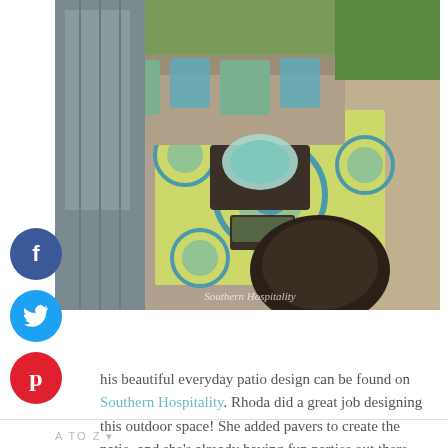[Figure (photo): Overhead view of a beautiful outdoor patio with sectional sofa with green and teal pillows, a patterned outdoor rug in yellow-green and blue, dark wicker furniture, and brick/stone pavers. Watermark reads 'Southern Hospitality'.]
This beautiful everyday patio design can be found on Southern Hospitality. Rhoda did a great job designing this outdoor space! She added pavers to create the patio, and she's already having fun parties out there.